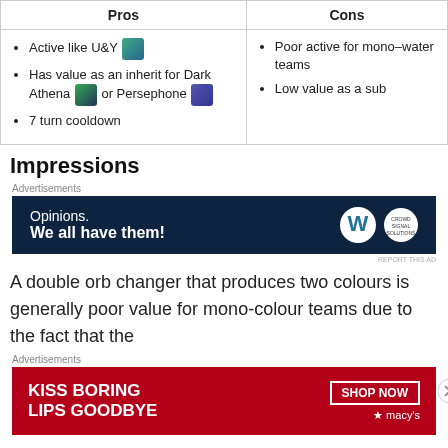| Pros | Cons |
| --- | --- |
| Active like U&Y [icon]
Has value as an inherit for Dark Athena [icon] or Persephone [icon]
7 turn cooldown | Poor active for mono-water teams
Low value as a sub |
Impressions
[Figure (screenshot): Advertisement banner: 'Opinions. We all have them!' with WordPress and another logo on dark navy background]
A double orb changer that produces two colours is generally poor value for mono-colour teams due to the fact that the
[Figure (screenshot): Advertisement banner: 'KISS BORING LIPS GOODBYE SHOP NOW macys' on red background with woman's face]